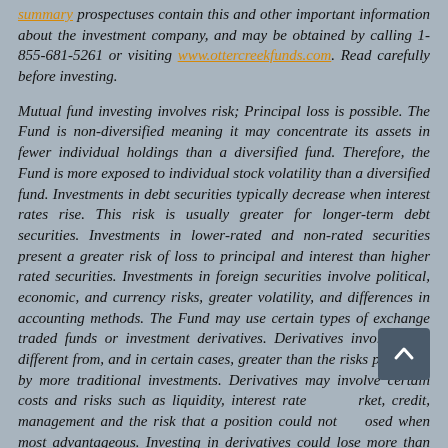summary prospectuses contain this and other important information about the investment company, and may be obtained by calling 1-855-681-5261 or visiting www.ottercreekfunds.com. Read carefully before investing.
Mutual fund investing involves risk; Principal loss is possible. The Fund is non-diversified meaning it may concentrate its assets in fewer individual holdings than a diversified fund. Therefore, the Fund is more exposed to individual stock volatility than a diversified fund. Investments in debt securities typically decrease when interest rates rise. This risk is usually greater for longer-term debt securities. Investments in lower-rated and non-rated securities present a greater risk of loss to principal and interest than higher rated securities. Investments in foreign securities involve political, economic, and currency risks, greater volatility, and differences in accounting methods. The Fund may use certain types of exchange traded funds or investment derivatives. Derivatives involve risks different from, and in certain cases, greater than the risks presented by more traditional investments. Derivatives may involve certain costs and risks such as liquidity, interest rate, market, credit, management and the risk that a position could not be closed when most advantageous. Investing in derivatives could lose more than the amount invested. ETF investments involve additional risks